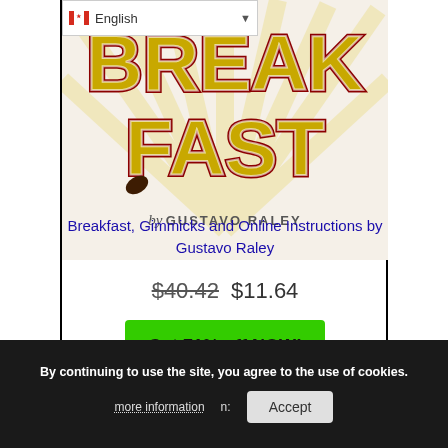[Figure (screenshot): Screenshot of a product page showing a book/magic product called 'Breakfast' by Gustavo Raley with stylized yellow and red text logo, with a language selector (English with Canadian flag) at the top]
Breakfast, Gimmicks and Online Instructions by Gustavo Raley
$40.42 $11.64
Get 71% off NOW!
By continuing to use the site, you agree to the use of cookies.
more information
Accept